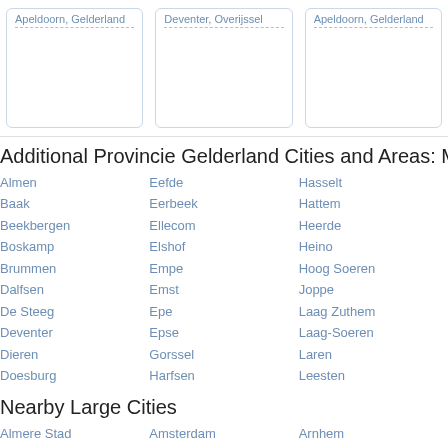Apeldoorn, Gelderland | Deventer, Overijssel | Apeldoorn, Gelderland
Additional Provincie Gelderland Cities and Areas: M
Almen
Baak
Beekbergen
Boskamp
Brummen
Dalfsen
De Steeg
Deventer
Dieren
Doesburg
Eefde
Eerbeek
Ellecom
Elshof
Empe
Emst
Epe
Epse
Gorssel
Harfsen
Hasselt
Hattem
Heerde
Heino
Hoog Soeren
Joppe
Laag Zuthem
Laag-Soeren
Laren
Leesten
Nearby Large Cities
Almere Stad
Amersfoort
Amsterdam
Apeldoorn
Arnhem
Enschede
Neighborhoods near Diepenveen
Appen
Avelo
De Vijfhoek
De Wijk
Hengeveld
Hanzfoarden